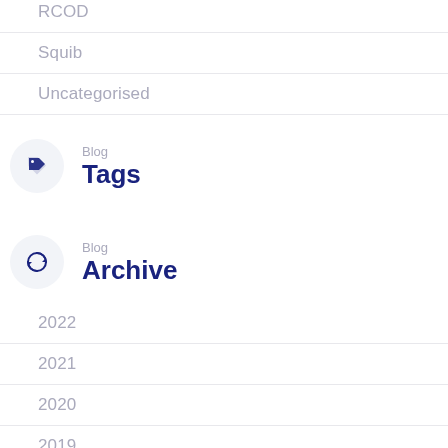RCOD
Squib
Uncategorised
Blog Tags
Blog Archive
2022
2021
2020
2019